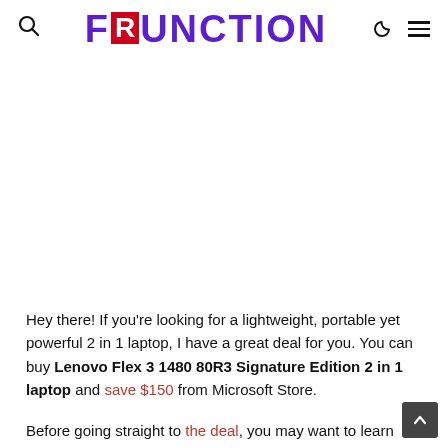FRUNCTION — navigation header with search, logo, dark mode, and menu icons
Hey there! If you're looking for a lightweight, portable yet powerful 2 in 1 laptop, I have a great deal for you. You can buy Lenovo Flex 3 1480 80R3 Signature Edition 2 in 1 laptop and save $150 from Microsoft Store.
Before going straight to the deal, you may want to learn more about Lenovo Flex 3 1480 80R3 Signature Edition 2 in 1